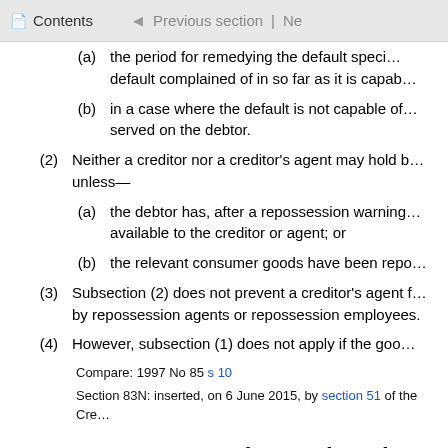Contents | Previous section | Ne
(a) the period for remedying the default specified in the default notice has expired without the debtor remedying the default complained of in so far as it is capable of being remedied; or
(b) in a case where the default is not capable of being remedied, the period of 20 working days after the date on which the default notice was served on the debtor.
(2) Neither a creditor nor a creditor's agent may hold back relevant consumer goods unless—
(a) the debtor has, after a repossession warning notice was served on the debtor, failed to make the goods available to the creditor or agent; or
(b) the relevant consumer goods have been repossessed under this subpart.
(3) Subsection (2) does not prevent a creditor's agent from acting within the scope of activities permitted by repossession agents or repossession employees.
(4) However, subsection (1) does not apply if the goods are perishable goods.
Compare: 1997 No 85 s 10
Section 83N: inserted, on 6 June 2015, by section 51 of the Cre
83O Documents to be produced on entry
(1) Every creditor or creditor's agent who exercises a right to repossess goods must, on first entering the premises if anyone is present, produce the following documents: